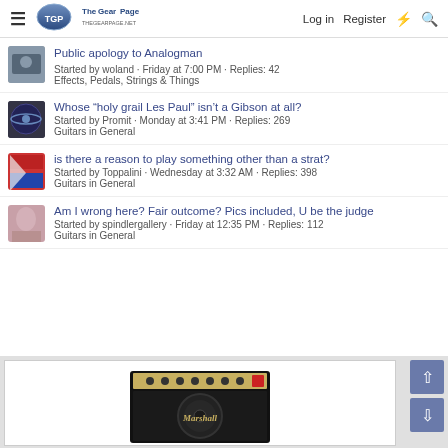The Gear Page — Log in  Register
Public apology to Analogman
Started by woland · Friday at 7:00 PM · Replies: 42
Effects, Pedals, Strings & Things
Whose “holy grail Les Paul” isn’t a Gibson at all?
Started by Promit · Monday at 3:41 PM · Replies: 269
Guitars in General
is there a reason to play something other than a strat?
Started by Toppalini · Wednesday at 3:32 AM · Replies: 398
Guitars in General
Am I wrong here? Fair outcome? Pics included, U be the judge
Started by spindlergallery · Friday at 12:35 PM · Replies: 112
Guitars in General
[Figure (photo): Marshall amplifier combo amp on a light gray background, with a white advertisement card border]